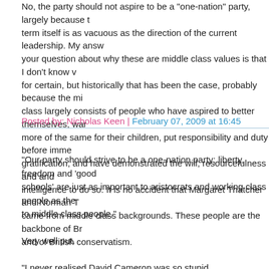No, the party should not aspire to be a "one-nation" party, largely because the term itself is as vacuous as the direction of the current leadership. My answer to your question about why these are middle class values is that I don't know for certain, but historically that has been the case, probably because the middle class largely consists of people who have aspired to better themselves, want more of the same for their children, put responsibility and duty before immediate gratification, and have demonstrated the will, resourcefulness and and intelligence to do so. It is no accident that Margaret Thatcher and Norman T came from middle class backgrounds. These people are the backbone of Br and of British conservatism.
Posted by: Nicholas Keen | February 07, 2009 at 16:45
"Our party should strive to be a one-nation party; liberty, freedom and 'good schools' are just as important to aristocrats and working class people as the to middle class people."

Very well put.

"I never realised David Cameron was so stupid.

Yes, I too am in favour of "good schools"!

Jes*s Ch**st..."